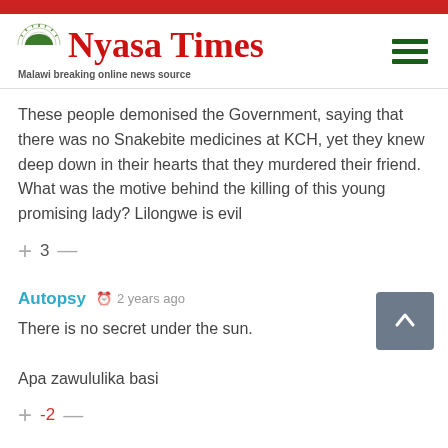[Figure (logo): Nyasa Times logo with arc/sun graphic and tagline 'Malawi breaking online news source']
These people demonised the Government, saying that there was no Snakebite medicines at KCH, yet they knew deep down in their hearts that they murdered their friend. What was the motive behind the killing of this young promising lady? Lilongwe is evil
+ 3 —
Autopsy  2 years ago
There is no secret under the sun.

Apa zawululika basi
+ -2 —